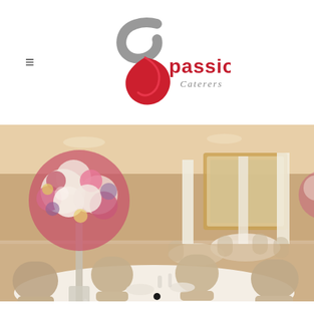[Figure (logo): Passion8 Caterers logo with red heart/swirl and grey cursive accent, text 'passion8 Caterers']
[Figure (photo): Elegant wedding reception hall with tall floral centerpieces of pink, cream and red flowers in crystal vases, ivory Louis-style chairs, white tablecloths, golden baroque mirrors and chandeliers in background, warm ambient lighting]